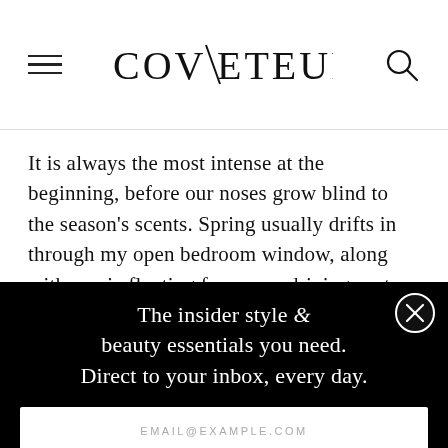COVETEUR
It is always the most intense at the beginning, before our noses grow blind to the season's scents. Spring usually drifts in through my open bedroom window, along with music floating from cars driving past my apartment. If spring was a fragrance, the notes would include…
The insider style & beauty essentials you need. Direct to your inbox, every day.
EMAIL@EXAMPLE.COM
SIGN UP